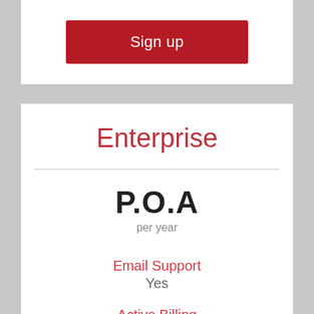Sign up
Enterprise
P.O.A
per year
Email Support
Yes
Active Billing
No
Payment Options